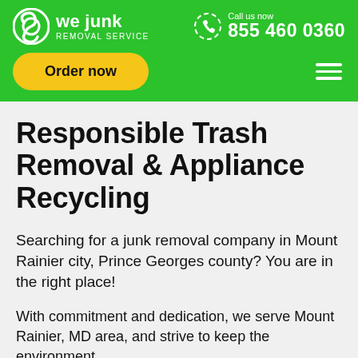we junk Removal service | Call us now 855 460 0360 | Order now
Responsible Trash Removal & Appliance Recycling
Searching for a junk removal company in Mount Rainier city, Prince Georges county? You are in the right place!
With commitment and dedication, we serve Mount Rainier, MD area, and strive to keep the environment,